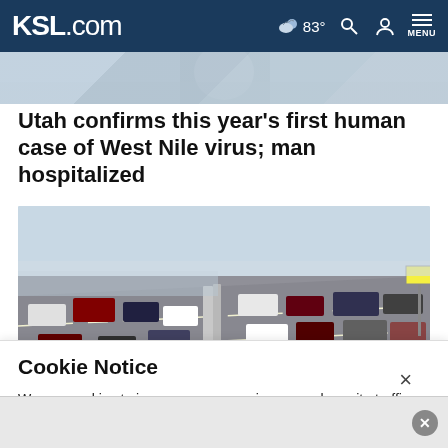KSL.com — 83° MENU
[Figure (photo): Partial view of a person outdoors, cropped at top of page]
Utah confirms this year's first human case of West Nile virus; man hospitalized
[Figure (photo): Highway traffic photo showing multiple lanes of vehicles on a busy freeway]
Cookie Notice
We use cookies to improve your experience, analyze site traffic, and to personalize content and ads. By continuing to use our site, you consent to our use of cookies. Please visit our
Terms of Use and Privacy Policy for more information